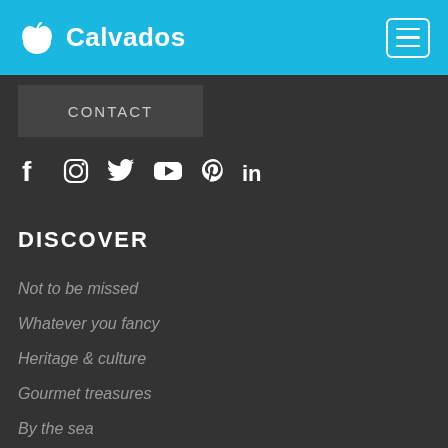Calvados
CONTACT
[Figure (infographic): Social media icons: Facebook, Instagram, Twitter, YouTube, Pinterest, LinkedIn]
DISCOVER
Not to be missed
Whatever you fancy
Heritage & culture
Gourmet treasures
By the sea